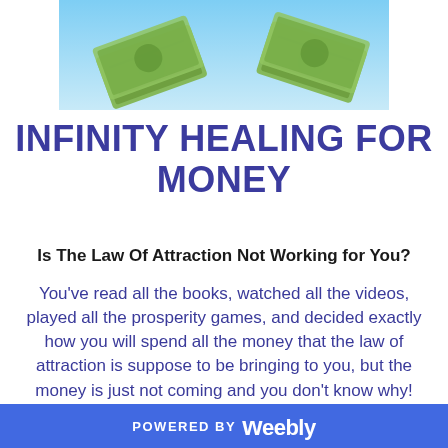[Figure (photo): Photo of US dollar bills / money on a light blue background, partially visible at top of page]
INFINITY HEALING FOR MONEY
Is The Law Of Attraction Not Working for You?
You've read all the books, watched all the videos, played all the prosperity games, and decided exactly how you will spend all the money that the law of attraction is suppose to be bringing to you, but the money is just not coming and you don't know why! What are you doing wrong??? If manifesting is not
POWERED BY weebly